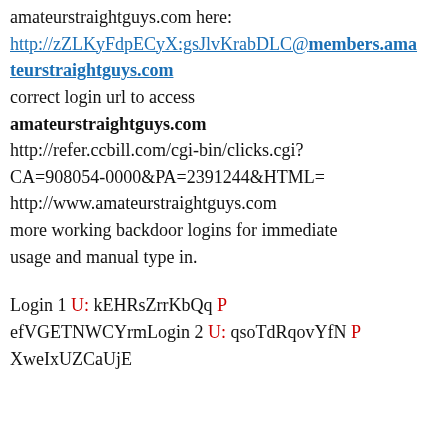amateurstraightguys.com here: http://zZLKyFdpECyX:gsJlvKrabDLC@members.amateurstraightguys.com correct login url to access amateurstraightguys.com http://refer.ccbill.com/cgi-bin/clicks.cgi?CA=908054-0000&PA=2391244&HTML=http://www.amateurstraightguys.com more working backdoor logins for immediate usage and manual type in.
Login 1 U: kEHRsZrrKbQq P efVGETNWCYrmLogin 2 U: qsoTdRqovYfN P XweIxUZCaUjE